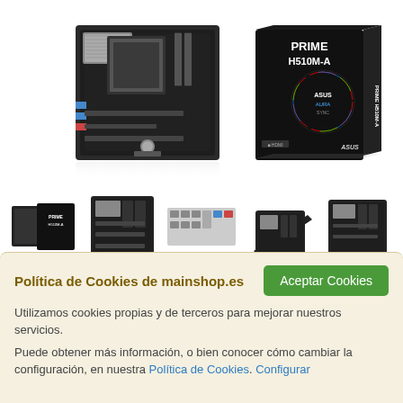[Figure (photo): Product images of ASUS PRIME H510M-A motherboard — main photo showing motherboard and box, plus 5 thumbnail views below]
Política de Cookies de mainshop.es
Utilizamos cookies propias y de terceros para mejorar nuestros servicios.
Puede obtener más información, o bien conocer cómo cambiar la configuración, en nuestra Política de Cookies. Configurar